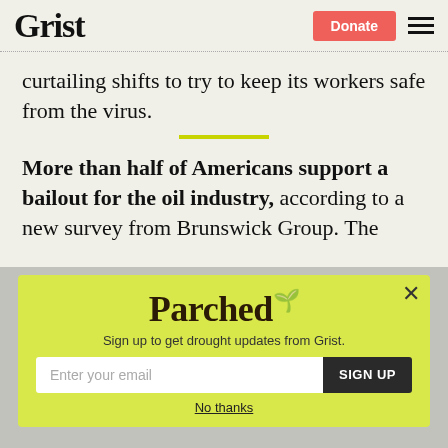Grist | Donate
curtailing shifts to try to keep its workers safe from the virus.
More than half of Americans support a bailout for the oil industry, according to a new survey from Brunswick Group. The
[Figure (other): Parched newsletter signup popup modal with yellow-green background, title 'Parched', subtitle 'Sign up to get drought updates from Grist.', email input field, SIGN UP button, and 'No thanks' link]